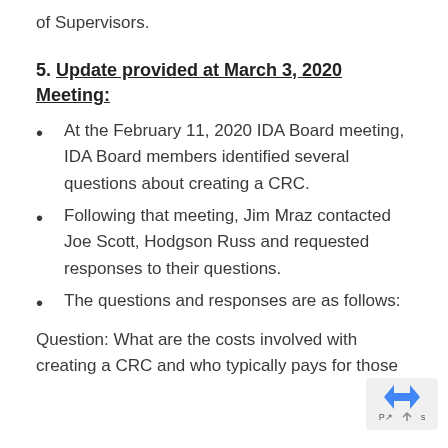of Supervisors.
5. Update provided at March 3, 2020 Meeting:
At the February 11, 2020 IDA Board meeting, IDA Board members identified several questions about creating a CRC.
Following that meeting, Jim Mraz contacted Joe Scott, Hodgson Russ and requested responses to their questions.
The questions and responses are as follows:
Question: What are the costs involved with creating a CRC and who typically pays for those